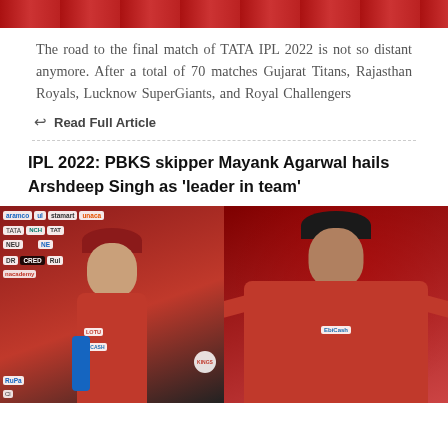[Figure (photo): Top portion of an IPL cricket image, partially visible at the top of the page]
The road to the final match of TATA IPL 2022 is not so distant anymore. After a total of 70 matches Gujarat Titans, Rajasthan Royals, Lucknow SuperGiants, and Royal Challengers
Read Full Article
IPL 2022: PBKS skipper Mayank Agarwal hails Arshdeep Singh as 'leader in team'
[Figure (photo): Two cricket players side by side — left: Mayank Agarwal in PBKS red jersey giving a press conference with a blue microphone, sponsor logos visible behind; right: Arshdeep Singh in PBKS red jersey celebrating with arms outstretched]